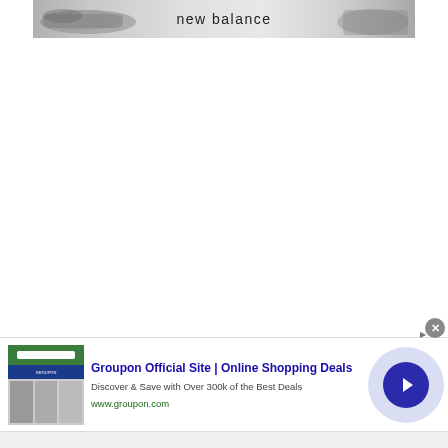[Figure (advertisement): New Balance banner advertisement showing gray athletic shoes on the left and a person in athletic wear on the right, with 'new balance' text in the center]
[Figure (advertisement): Groupon display advertisement with thumbnail showing Groupon website screenshot on left, text 'Groupon Official Site | Online Shopping Deals', 'Discover & Save with Over 300k of the Best Deals', 'www.groupon.com', a circular arrow button on the right, and a close (X) button]